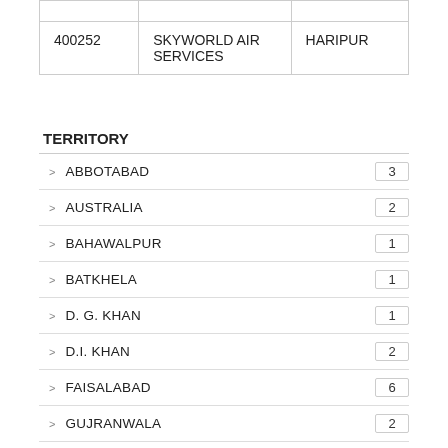| 400252 | SKYWORLD AIR SERVICES | HARIPUR |
TERRITORY
ABBOTABAD 3
AUSTRALIA 2
BAHAWALPUR 1
BATKHELA 1
D. G. KHAN 1
D.I. KHAN 2
FAISALABAD 6
GUJRANWALA 2
HARIPUR 2
HYDERABAD 4